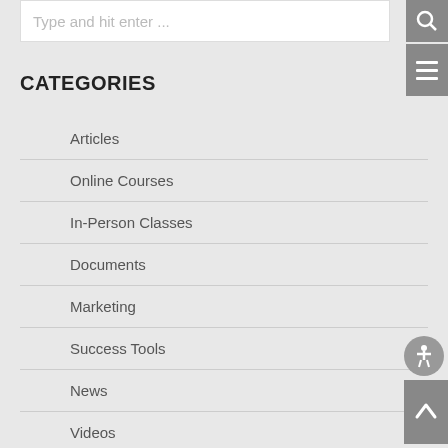Type and hit enter ...
CATEGORIES
Articles
Online Courses
In-Person Classes
Documents
Marketing
Success Tools
News
Videos